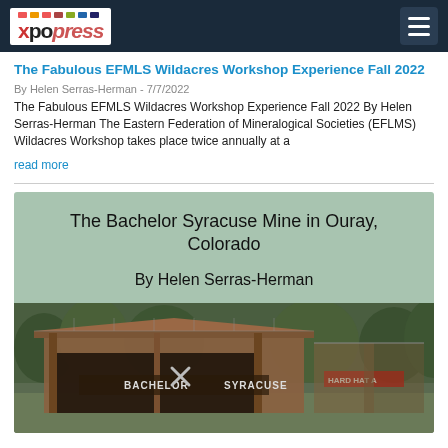xpopress navigation bar
The Fabulous EFMLS Wildacres Workshop Experience Fall 2022
By Helen Serras-Herman - 7/7/2022
The Fabulous EFMLS Wildacres Workshop Experience Fall 2022 By Helen Serras-Herman The Eastern Federation of Mineralogical Societies (EFLMS) Wildacres Workshop takes place twice annually at a
read more
[Figure (illustration): Book cover image with sage green header showing title 'The Bachelor Syracuse Mine in Ouray, Colorado' and author 'By Helen Serras-Herman', below which is a photo of the Bachelor Syracuse mine entrance with wooden structure and signage reading BACHELOR SYRACUSE and HARD HAT A]
The Bachelor Syracuse Mine in Ouray, Colorado By Helen Serras-Herman